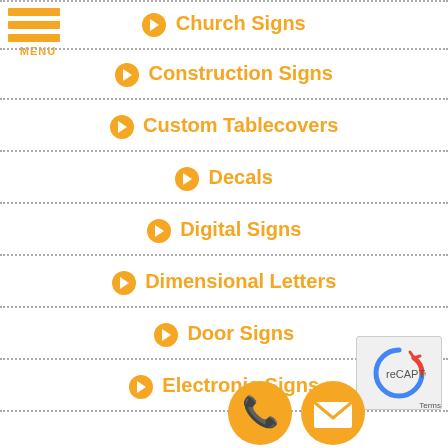[Figure (logo): Hamburger menu icon with three orange horizontal bars and MENU label]
➔ Church Signs
➔ Construction Signs
➔ Custom Tablecovers
➔ Decals
➔ Digital Signs
➔ Dimensional Letters
➔ Door Signs
➔ Electronic Signs
[Figure (illustration): Orange circle phone icon and orange circle email/envelope icon in bottom right corner]